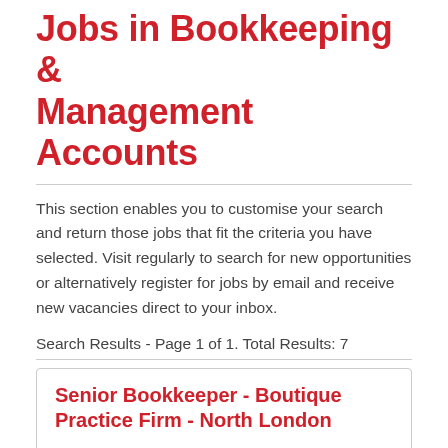Jobs in Bookkeeping & Management Accounts
This section enables you to customise your search and return those jobs that fit the criteria you have selected. Visit regularly to search for new opportunities or alternatively register for jobs by email and receive new vacancies direct to your inbox.
Search Results - Page 1 of 1. Total Results: 7
Senior Bookkeeper - Boutique Practice Firm - North London
* Firm: Boutique Practice Firm* Workload: Bookkeeping* Location: North London* Salary: